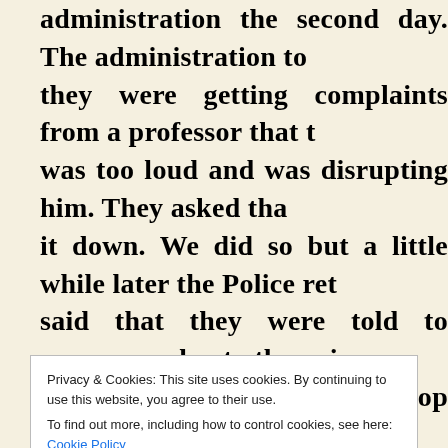administration the second day. The administration to they were getting complaints from a professor that was too loud and was disrupting him. They asked tha it down. We did so but a little while later the Police ret said that they were told to remove us due to the noise Police that we would stop preaching and would only one on one conversations for the rest of the day, to k the noise. The Police said that we wouldn't have campus if we did that. However, a little while administrator came and said that because of the no crowd the Police were going to escort us off campus
Privacy & Cookies: This site uses cookies. By continuing to use this website, you agree to their use. To find out more, including how to control cookies, see here: Cookie Policy